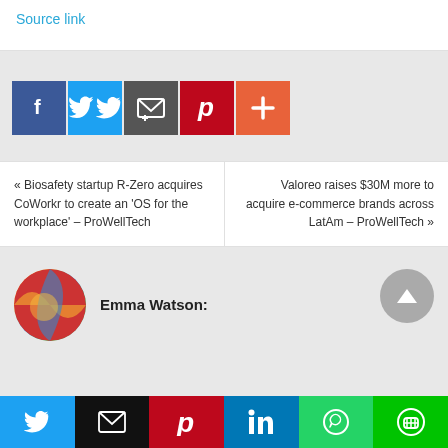Source link
[Figure (infographic): Social share buttons row: Facebook (blue), Twitter (light blue), Email/share (dark gray), Pinterest (red), More/Plus (orange)]
« Biosafety startup R-Zero acquires CoWorkr to create an 'OS for the workplace' – ProWellTech
Valoreo raises $30M more to acquire e-commerce brands across LatAm – ProWellTech »
Emma Watson:
[Figure (infographic): Bottom share bar: Twitter, Email, Pinterest, LinkedIn, WhatsApp, LINE buttons]